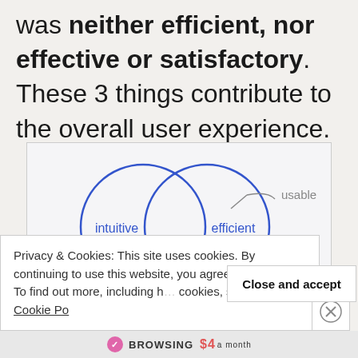was neither efficient, nor effective or satisfactory. These 3 things contribute to the overall user experience.
[Figure (other): Venn diagram showing two overlapping circles labeled 'intuitive' and 'efficient', with a label 'usable' pointing to the right circle, illustrating components of user experience.]
Privacy & Cookies: This site uses cookies. By continuing to use this website, you agree to their use.
To find out more, including how to control cookies, see here: Cookie Po...